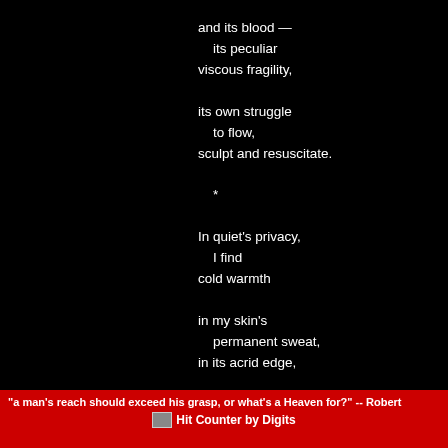and its blood —
    its peculiar
viscous fragility,

its own struggle
    to flow,
sculpt and resuscitate.

    *

In quiet's privacy,
    I find
cold warmth

in my skin's
    permanent sweat,
in its acrid edge,

and in my own
    god's
prayer-call.
"a man's reach should exceed his grasp, or what's a Heaven for?" -- Robert
Hit Counter by Digits